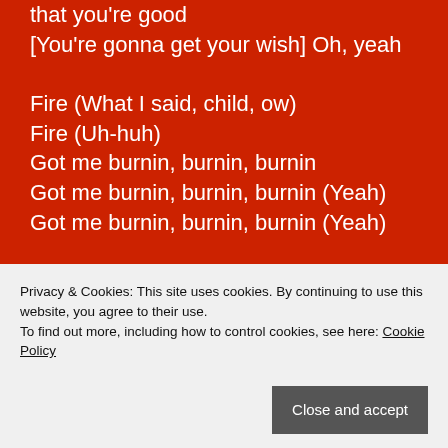that you're good
[You're gonna get your wish] Oh, yeah

Fire (What I said, child, ow)
Fire (Uh-huh)
Got me burnin, burnin, burnin
Got me burnin, burnin, burnin (Yeah)
Got me burnin, burnin, burnin (Yeah)

Woo…hoo…hoo…baby
Start burnin, burnin baby
Ooh. Ooh, ooh, ooh
Burnin, burnin baby
Oh, baby

When you shake what you got, and girl, you've got a lot
You're really somethin, child, yes, you
gonna start a flame
Privacy & Cookies: This site uses cookies. By continuing to use this website, you agree to their use.
To find out more, including how to control cookies, see here: Cookie Policy